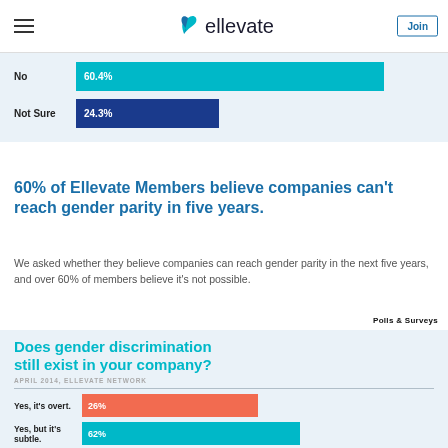ellevate | Join
[Figure (bar-chart): Can companies reach gender parity in five years?]
60% of Ellevate Members believe companies can't reach gender parity in five years.
We asked whether they believe companies can reach gender parity in the next five years, and over 60% of members believe it's not possible.
Polls & Surveys
[Figure (bar-chart): Does gender discrimination still exist in your company?]